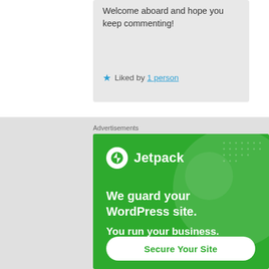Welcome aboard and hope you keep commenting!
Liked by 1 person
Advertisements
[Figure (infographic): Jetpack advertisement banner with green background, Jetpack logo, text 'We guard your WordPress site. You run your business.' and a 'Secure Your Site' button.]